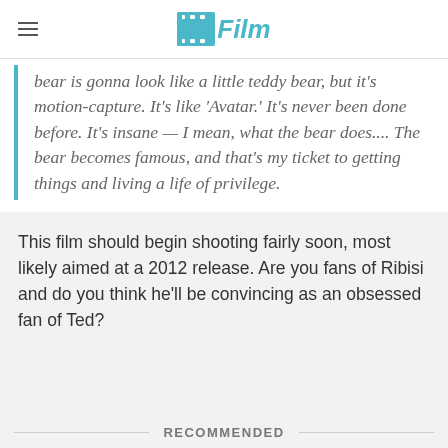/Film
bear is gonna look like a little teddy bear, but it's motion-capture. It's like 'Avatar.' It's never been done before. It's insane — I mean, what the bear does.... The bear becomes famous, and that's my ticket to getting things and living a life of privilege.
This film should begin shooting fairly soon, most likely aimed at a 2012 release. Are you fans of Ribisi and do you think he'll be convincing as an obsessed fan of Ted?
RECOMMENDED